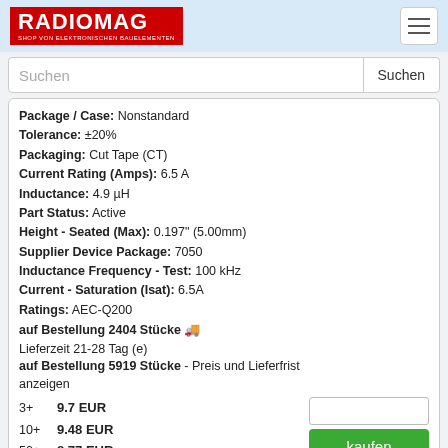RADIOMAG - SHOP VON ELEKTRONISCHEN BAUELEMENTEN
Suchen
Package / Case: Nonstandard
Tolerance: ±20%
Packaging: Cut Tape (CT)
Current Rating (Amps): 6.5 A
Inductance: 4.9 µH
Part Status: Active
Height - Seated (Max): 0.197" (5.00mm)
Supplier Device Package: 7050
Inductance Frequency - Test: 100 kHz
Current - Saturation (Isat): 6.5A
Ratings: AEC-Q200
auf Bestellung 2404 Stücke 🚚
Lieferzeit 21-28 Tag (e)
auf Bestellung 5919 Stücke - Preis und Lieferfrist anzeigen
3+ 9.7 EUR
10+ 9.48 EUR
50+ 8.77 EUR
100+ 8.39 EUR
500+ 7.85 EUR
74437346056